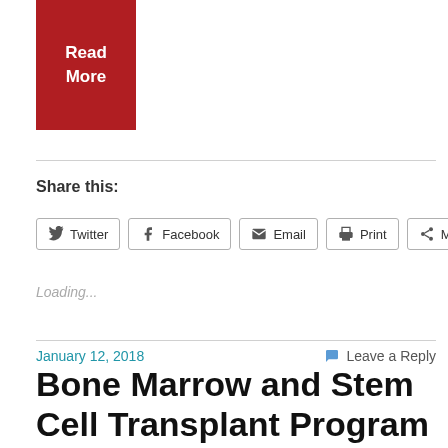[Figure (other): Red 'Read More' button]
Share this:
Twitter  Facebook  Email  Print  More
Loading...
January 12, 2018
Leave a Reply
Bone Marrow and Stem Cell Transplant Program Research Updates at the 2017 American